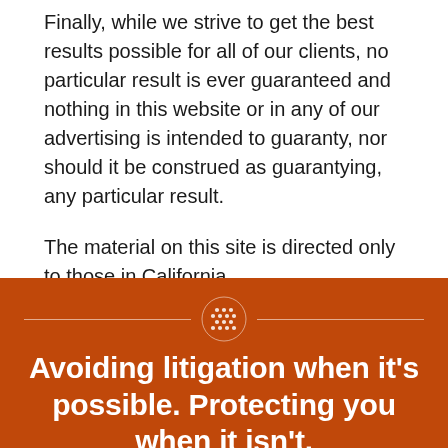Finally, while we strive to get the best results possible for all of our clients, no particular result is ever guaranteed and nothing in this website or in any of our advertising is intended to guaranty, nor should it be construed as guarantying, any particular result.
The material on this site is directed only to those in California.
[Figure (illustration): Decorative divider with a globe/dot-grid icon centered between two horizontal lines, white on orange-red background]
Avoiding litigation when it's possible. Protecting you when it isn't.